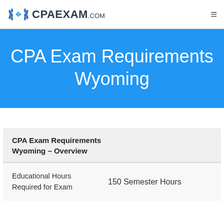CPAEXAM.com
CPA Exam Requirements Wyoming
CPA Exam Requirements Wyoming – Overview
|  |  |
| --- | --- |
| Educational Hours Required for Exam | 150 Semester Hours |